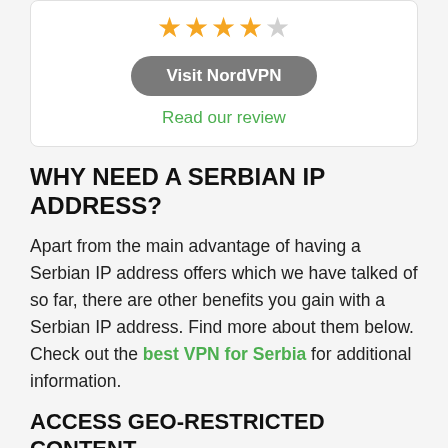[Figure (other): Star rating: 4 out of 5 stars shown as filled and empty star icons]
Visit NordVPN
Read our review
WHY NEED A SERBIAN IP ADDRESS?
Apart from the main advantage of having a Serbian IP address offers which we have talked of so far, there are other benefits you gain with a Serbian IP address. Find more about them below. Check out the best VPN for Serbia for additional information.
ACCESS GEO-RESTRICTED CONTENT
Geographic restrictions prevent users in a particular